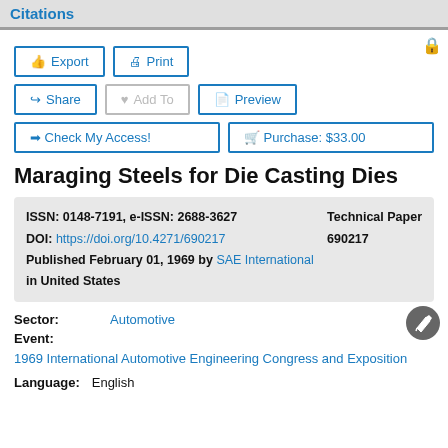Citations
Export | Print | Share | Add To | Preview | Check My Access! | Purchase: $33.00
Maraging Steels for Die Casting Dies
ISSN: 0148-7191, e-ISSN: 2688-3627
DOI: https://doi.org/10.4271/690217
Published February 01, 1969 by SAE International in United States
Technical Paper
690217
Sector: Automotive
Event:
1969 International Automotive Engineering Congress and Exposition
Language: English